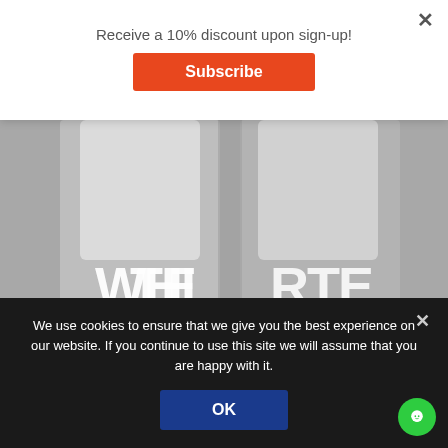Receive a 10% discount upon sign-up!
Subscribe
[Figure (photo): Two frosted glass bottles with white text reading 'WHITE PARIS', photographed against a grey background. Only the lower portions of the bottles are visible showing the branding text.]
We use cookies to ensure that we give you the best experience on our website. If you continue to use this site we will assume that you are happy with it.
OK